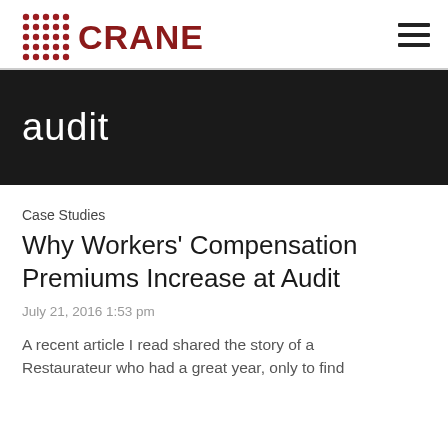CRANE [logo] | navigation menu
audit
Case Studies
Why Workers’ Compensation Premiums Increase at Audit
July 21, 2016 1:53 pm
A recent article I read shared the story of a Restaurateur who had a great year, only to find